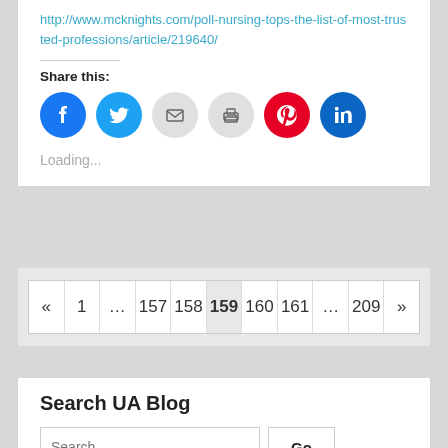http://www.mcknights.com/poll-nursing-tops-the-list-of-most-trusted-professions/article/219640/
Share this:
[Figure (infographic): Social share buttons: Facebook (blue circle), Twitter (light blue circle), Email (grey circle), Print (grey circle), Pinterest (red circle), LinkedIn (dark teal circle)]
Loading...
« 1 … 157 158 159 160 161 … 209 »
Search UA Blog
Search …